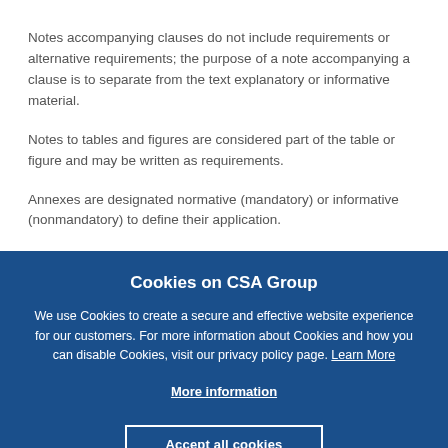Notes accompanying clauses do not include requirements or alternative requirements; the purpose of a note accompanying a clause is to separate from the text explanatory or informative material.
Notes to tables and figures are considered part of the table or figure and may be written as requirements.
Annexes are designated normative (mandatory) or informative (nonmandatory) to define their application.
Cookies on CSA Group
We use Cookies to create a secure and effective website experience for our customers. For more information about Cookies and how you can disable Cookies, visit our privacy policy page. Learn More
More information
Accept all cookies